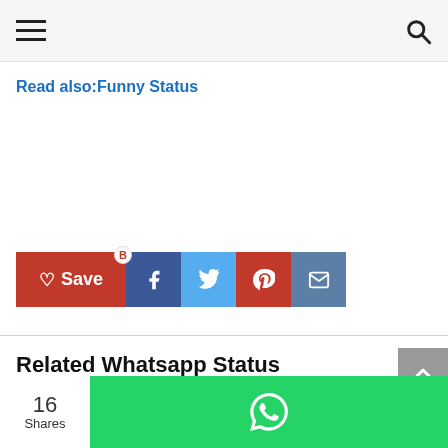Navigation header with hamburger menu and search icon
Read also:Funny Status
[Figure (other): Social share buttons row: Save (red), Facebook (dark blue), Twitter (light blue), Pinterest (red), Email (blue-grey)]
Related Whatsapp Status
[Figure (other): Back to top arrow button (grey)]
[Figure (other): Heart (save/like) outline icon]
16 Shares | WhatsApp share button